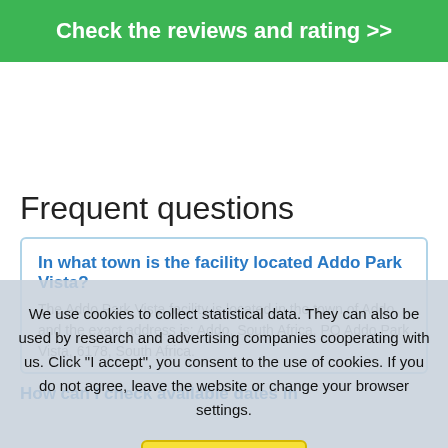[Figure (other): Green button reading 'Check the reviews and rating >>']
Frequent questions
In what town is the facility located Addo Park Vista?
The Addo Park Vista facility is located in the town of Addo, and the exact address is: Addo, South Africa, PO Addo Park Vista, 6178, South Africa.
We use cookies to collect statistical data. They can also be used by research and advertising companies cooperating with us. Click "I accept", you consent to the use of cookies. If you do not agree, leave the website or change your browser settings.
I accept
How can I check available dates in